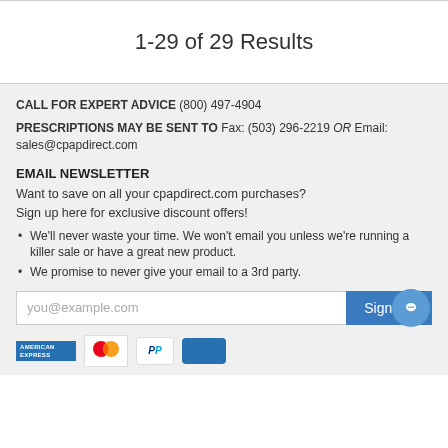1-29 of 29 Results
CALL FOR EXPERT ADVICE (800) 497-4904
PRESCRIPTIONS MAY BE SENT TO Fax: (503) 296-2219 OR Email: sales@cpapdirect.com
EMAIL NEWSLETTER
Want to save on all your cpapdirect.com purchases?
Sign up here for exclusive discount offers!
We'll never waste your time. We won't email you unless we're running a killer sale or have a great new product.
We promise to never give your email to a 3rd party.
[Figure (screenshot): Email signup form with input placeholder 'you@example.com' and a 'Sign Up' button]
[Figure (logo): Payment method logos: American Express, Mastercard, PayPal, and another card]